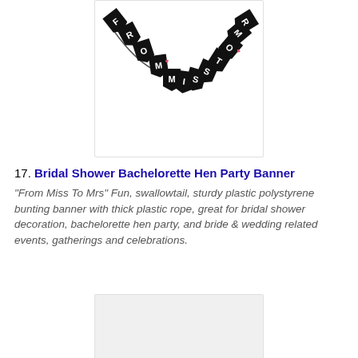[Figure (photo): A bunting banner with black swallowtail pennant flags spelling out 'FROM MISS TO MR' with red hearts, arranged in a curved arc shape on a white background.]
17. Bridal Shower Bachelorette Hen Party Banner
"From Miss To Mrs" Fun, swallowtail, sturdy plastic polystyrene bunting banner with thick plastic rope, great for bridal shower decoration, bachelorette hen party, and bride & wedding related events, gatherings and celebrations.
[Figure (photo): Partial product image, bottom cut off, showing a light gray/white area.]